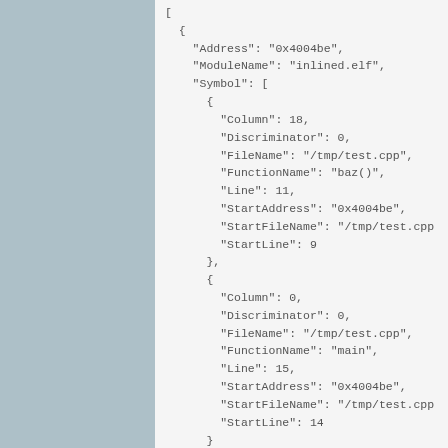[
  {
    "Address": "0x4004be",
    "ModuleName": "inlined.elf",
    "Symbol": [
      {
        "Column": 18,
        "Discriminator": 0,
        "FileName": "/tmp/test.cpp",
        "FunctionName": "baz()",
        "Line": 11,
        "StartAddress": "0x4004be",
        "StartFileName": "/tmp/test.cpp
        "StartLine": 9
      },
      {
        "Column": 0,
        "Discriminator": 0,
        "FileName": "/tmp/test.cpp",
        "FunctionName": "main",
        "Line": 15,
        "StartAddress": "0x4004be",
        "StartFileName": "/tmp/test.cpp
        "StartLine": 14
      }
    ]
  },
],